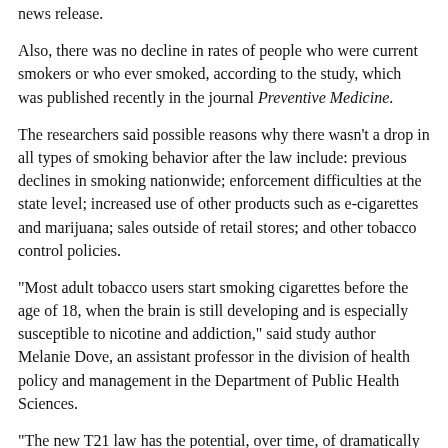news release.
Also, there was no decline in rates of people who were current smokers or who ever smoked, according to the study, which was published recently in the journal Preventive Medicine.
The researchers said possible reasons why there wasn't a drop in all types of smoking behavior after the law include: previous declines in smoking nationwide; enforcement difficulties at the state level; increased use of other products such as e-cigarettes and marijuana; sales outside of retail stores; and other tobacco control policies.
"Most adult tobacco users start smoking cigarettes before the age of 18, when the brain is still developing and is especially susceptible to nicotine and addiction," said study author Melanie Dove, an assistant professor in the division of health policy and management in the Department of Public Health Sciences.
"The new T21 law has the potential, over time, of dramatically reducing the number of youth who begin smoking regularly and that's why it is important to track the impact," Dove said in the release.
"Future studies should examine the role of e-cigarette use, policy enforcement, as well as online sales," said study co-author Dr. Elisa Tong, an internist and associate professor who directs